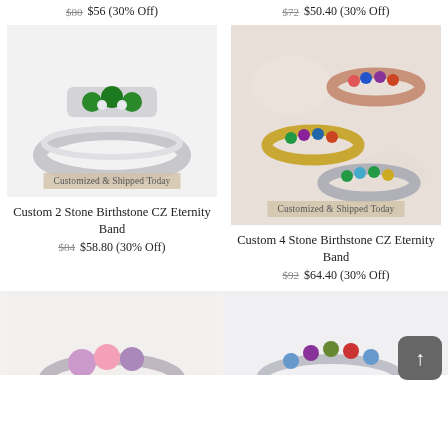$80  $56 (30% Off)
$72  $50.40 (30% Off)
[Figure (photo): Silver birthstone ring with green CZ stones, 2-stone eternity band style]
Customized & Shipped Today
Custom 2 Stone Birthstone CZ Eternity Band
$84  $58.80 (30% Off)
[Figure (photo): Three multi-colored birthstone CZ eternity band rings in gold, rose gold, and silver tones]
Customized & Shipped Today
Custom 4 Stone Birthstone CZ Eternity Band
$92  $64.40 (30% Off)
[Figure (photo): Partial view of a ring with pink and purple stones, bottom of page]
[Figure (photo): Partial view of a ring with colorful CZ stones, bottom of page]